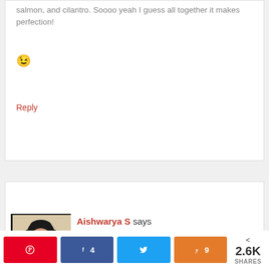salmon, and cilantro. Soooo yeah I guess all together it makes perfection! 😉
Reply
Aishwarya S says
September 14, 2015 at 8:05 am
[Figure (photo): Profile photo of Aishwarya S, a woman with short dark curly hair wearing a black top and necklace]
< 2.6K SHARES